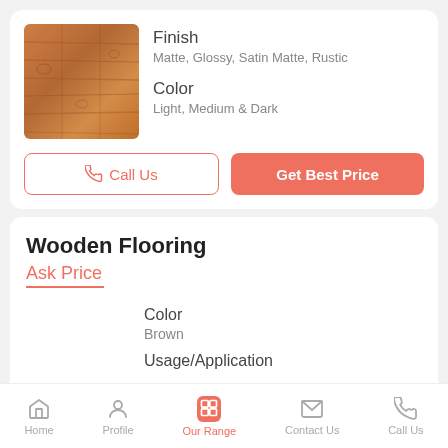[Figure (photo): Wood flooring product image showing warm brown wooden planks texture]
Finish
Matte, Glossy, Satin Matte, Rustic
Color
Light, Medium & Dark
Call Us
Get Best Price
Wooden Flooring
Ask Price
Color
Brown
Usage/Application
Home  Profile  Our Range  Contact Us  Call Us